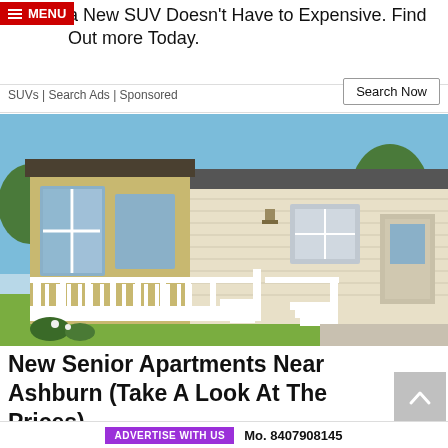a New SUV Doesn't Have to Expensive. Find Out more Today.
SUVs | Search Ads | Sponsored
Search Now
[Figure (photo): Exterior photo of a manufactured/mobile home with white wood railing porch and steps, beige siding, large windows with dark frames on left sunroom section, blue sky and trees in background, green lawn in foreground.]
New Senior Apartments Near Ashburn (Take A Look At The Prices)
ADVERTISE WITH US  Mo. 8407908145